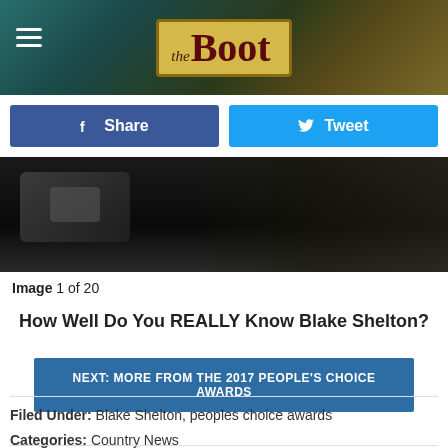the Boot
f Share   Tweet
[Figure (photo): Dark photo showing a hand/person on stage at an awards show]
Image 1 of 20
How Well Do You REALLY Know Blake Shelton?
NEXT: MORE FROM THE 2017 PEOPLE'S CHOICE AWARDS
Filed Under: Blake Shelton, peoples choice awards
Categories: Country News
Comments
LEAVE A COMMENT